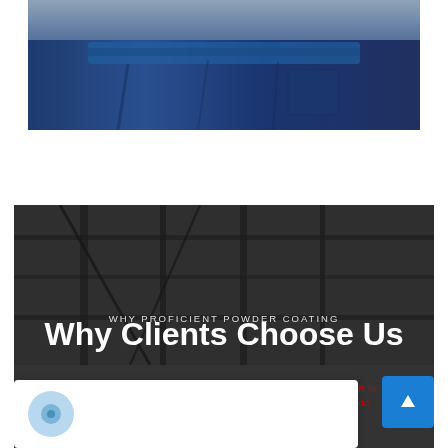[Figure (photo): Close-up photo of a person wearing a blue work uniform/coveralls, showing the torso/waist area with fabric folds visible against a grey background]
WHY PROFICIENT POWDER COATING
Why Clients Choose Us
[Figure (photo): Dark industrial background showing metal grid/rack structures in black and white/grayscale, used as background for the 'Why Clients Choose Us' section]
[Figure (illustration): Bottom of page showing white card with blue circular icon and partial red text, plus a blue button with upward arrow]